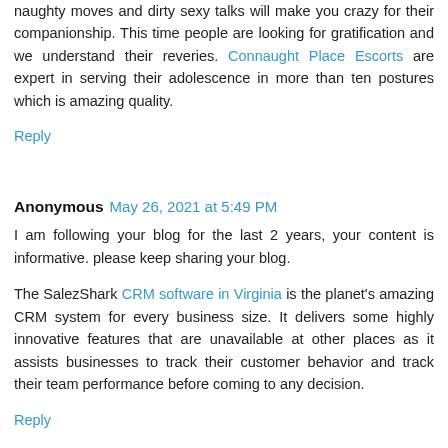naughty moves and dirty sexy talks will make you crazy for their companionship. This time people are looking for gratification and we understand their reveries. Connaught Place Escorts are expert in serving their adolescence in more than ten postures which is amazing quality.
Reply
Anonymous  May 26, 2021 at 5:49 PM
I am following your blog for the last 2 years, your content is informative. please keep sharing your blog.
The SalezShark CRM software in Virginia is the planet's amazing CRM system for every business size. It delivers some highly innovative features that are unavailable at other places as it assists businesses to track their customer behavior and track their team performance before coming to any decision.
Reply